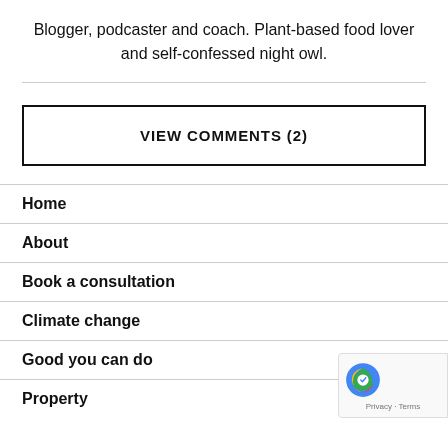Blogger, podcaster and coach. Plant-based food lover and self-confessed night owl.
VIEW COMMENTS (2)
Home
About
Book a consultation
Climate change
Good you can do
Property